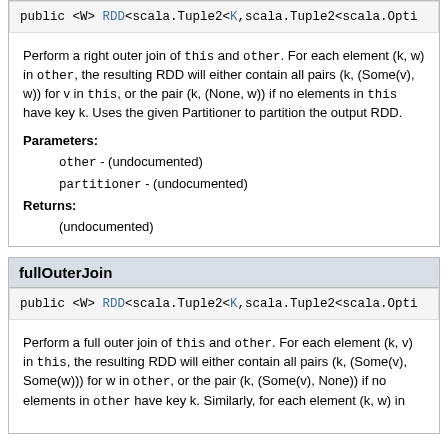public <W> RDD<scala.Tuple2<K,scala.Tuple2<scala.Opti...
Perform a right outer join of this and other. For each element (k, w) in other, the resulting RDD will either contain all pairs (k, (Some(v), w)) for v in this, or the pair (k, (None, w)) if no elements in this have key k. Uses the given Partitioner to partition the output RDD.
Parameters:
other - (undocumented)
partitioner - (undocumented)
Returns:
(undocumented)
fullOuterJoin
public <W> RDD<scala.Tuple2<K,scala.Tuple2<scala.Opti...
Perform a full outer join of this and other. For each element (k, v) in this, the resulting RDD will either contain all pairs (k, (Some(v), Some(w))) for w in other, or the pair (k, (Some(v), None)) if no elements in other have key k. Similarly, for each element (k, w) in